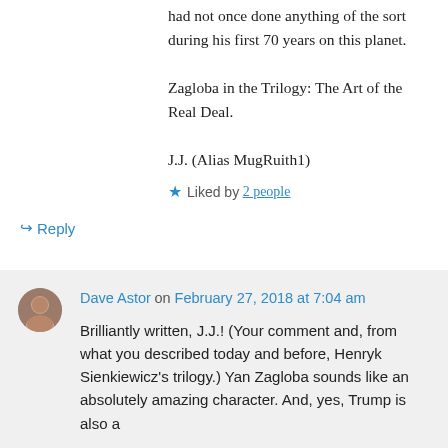had not once done anything of the sort during his first 70 years on this planet.
Zagloba in the Trilogy: The Art of the Real Deal.
J.J. (Alias MugRuith1)
Liked by 2 people
↳ Reply
Dave Astor on February 27, 2018 at 7:04 am
Brilliantly written, J.J.! (Your comment and, from what you described today and before, Henryk Sienkiewicz's trilogy.) Yan Zagloba sounds like an absolutely amazing character. And, yes, Trump is also a